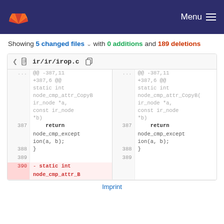GitLab — Menu
Showing 5 changed files with 0 additions and 189 deletions
ir/ir/irop.c
| line | code (left) | line | code (right) |
| --- | --- | --- | --- |
| ... | @@ -387,11 +387,6 @@ static int node_cmp_attr_CopyB( ir_node *a, const ir_node *b) | ... | @@ -387,11 +387,6 @@ static int node_cmp_attr_CopyB( ir_node *a, const ir_node *b) |
| 387 | return node_cmp_exception(a, b); | 387 | return node_cmp_exception(a, b); |
| 388 | } | 388 | } |
| 389 |  | 389 |  |
| 390 | - static int node_cmp_attr_B... |  |  |
Imprint